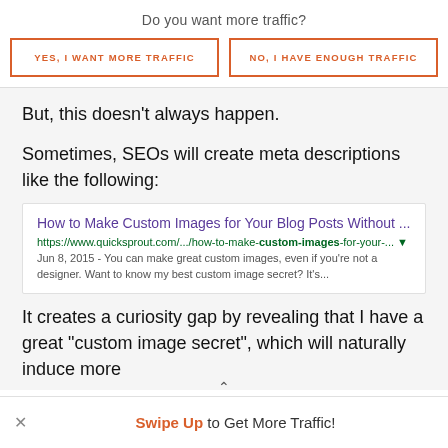Do you want more traffic?
YES, I WANT MORE TRAFFIC
NO, I HAVE ENOUGH TRAFFIC
But, this doesn't always happen.
Sometimes, SEOs will create meta descriptions like the following:
[Figure (screenshot): A Google search result snippet showing: Title: 'How to Make Custom Images for Your Blog Posts Without ...' URL: https://www.quicksprout.com/.../how-to-make-custom-images-for-your-... Description: 'Jun 8, 2015 - You can make great custom images, even if you're not a designer. Want to know my best custom image secret? It's...']
It creates a curiosity gap by revealing that I have a great “custom image secret”, which will naturally induce more
Swipe Up to Get More Traffic!